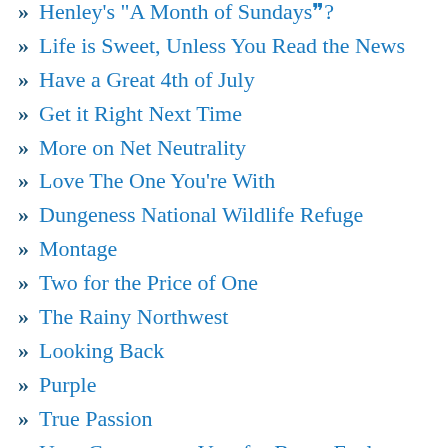Henley's "A Month of Sundays"?
Life is Sweet, Unless You Read the News
Have a Great 4th of July
Get it Right Next Time
More on Net Neutrality
Love The One You're With
Dungeness National Wildlife Refuge
Montage
Two for the Price of One
The Rainy Northwest
Looking Back
Purple
True Passion
Urge Congress to Vote for Better Fuel Economy
When You Have Nothing To Say